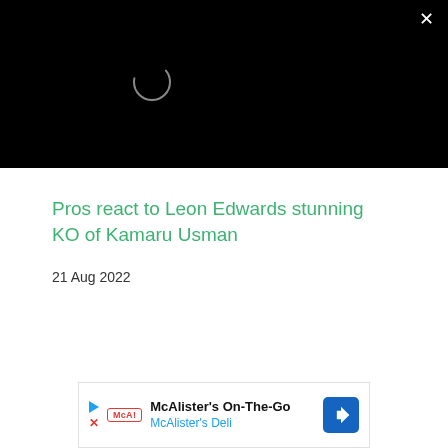[Figure (screenshot): Black video player area with a loading spinner circle in the upper left quadrant and a white X close button in the top right corner.]
Pros react to Leon Edwards stunning KO of Kamaru Usman
21 Aug 2022
PRIVACY POLICY
[Figure (screenshot): Advertisement banner for McAlister's On-The-Go / McAlister's Deli with play and X icons on the left, logo, text, and a blue navigation arrow icon on the right.]